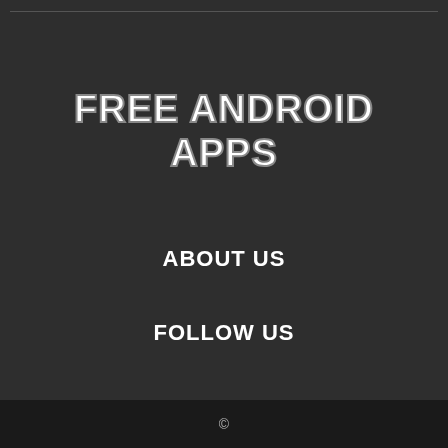FREE ANDROID APPS
ABOUT US
FOLLOW US
©